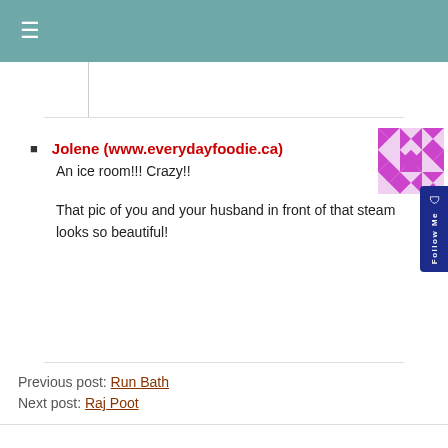≡
Jolene (www.everydayfoodie.ca)
An ice room!!! Crazy!!

That pic of you and your husband in front of that steam looks so beautiful!
Previous post: Run Bath
Next post: Raj Poot
[Figure (illustration): Purple and white geometric quilt-pattern avatar icon]